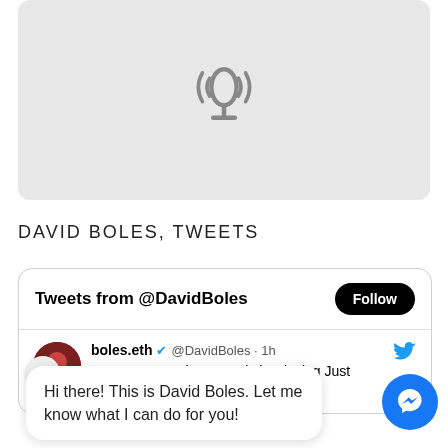[Figure (illustration): Podcast icon (microphone with signal waves) centered in a light gray rounded rectangle]
DAVID BOLES, TWEETS
[Figure (screenshot): Twitter widget showing tweets from @DavidBoles with a Follow button, and a tweet by boles.eth saying 'I'm now streaming on Twitch! Playing Just Chatting ift.tt/wVenR5j']
Hi there! This is David Boles. Let me know what I can do for you!